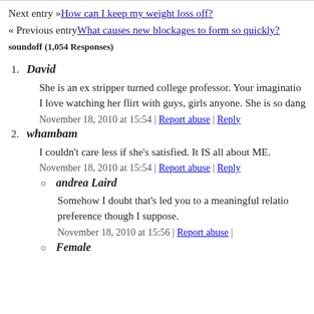Next entry »How can I keep my weight loss off?
« Previous entryWhat causes new blockages to form so quickly?
soundoff (1,054 Responses)
1. David
She is an ex stripper turned college professor. Your imaginatio... I love watching her flirt with guys, girls anyone. She is so dang...
November 18, 2010 at 15:54 | Report abuse | Reply
2. whambam
I couldn't care less if she's satisfied. It IS all about ME.
November 18, 2010 at 15:54 | Report abuse | Reply
andrea Laird
Somehow I doubt that's led you to a meaningful relation... preference though I suppose.
November 18, 2010 at 15:56 | Report abuse |
Female